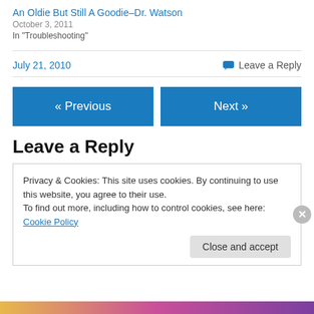An Oldie But Still A Goodie–Dr. Watson
October 3, 2011
In "Troubleshooting"
July 21, 2010
Leave a Reply
« Previous
Next »
Leave a Reply
Privacy & Cookies: This site uses cookies. By continuing to use this website, you agree to their use.
To find out more, including how to control cookies, see here: Cookie Policy
Close and accept